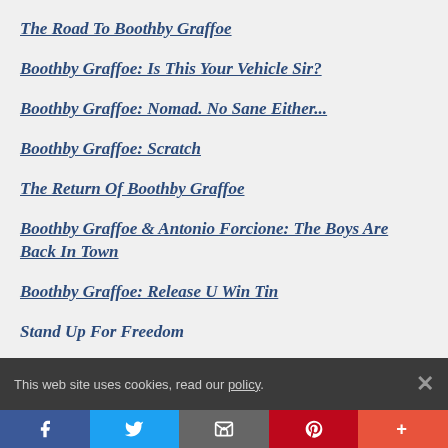The Road To Boothby Graffoe
Boothby Graffoe: Is This Your Vehicle Sir?
Boothby Graffoe: Nomad. No Sane Either...
Boothby Graffoe: Scratch
The Return Of Boothby Graffoe
Boothby Graffoe & Antonio Forcione: The Boys Are Back In Town
Boothby Graffoe: Release U Win Tin
Stand Up For Freedom
This web site uses cookies, read our policy. ×